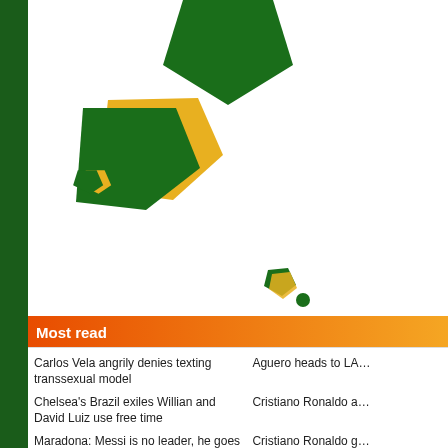[Figure (illustration): Decorative green and yellow pentagon/polygon shapes arranged in a diagonal scatter pattern from upper center to middle, decreasing in size. Background is white with a dark green vertical bar on the left edge.]
Most read
| Carlos Vela angrily denies texting transsexual model | Aguero heads to LA… |
| Chelsea's Brazil exiles Willian and David Luiz use free time | Cristiano Ronaldo a… |
| Maradona: Messi is no leader, he goes to toilet 20 times | Cristiano Ronaldo g… |
| Pogba, Mbappe and Griezmann meet Mickey Mouse… | Kanye West wears k… |